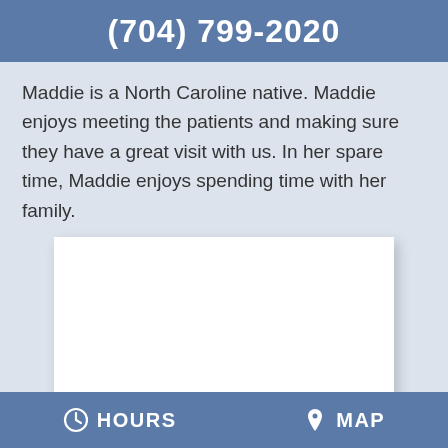(704) 799-2020
Maddie is a North Caroline native. Maddie enjoys meeting the patients and making sure they have a great visit with us. In her spare time, Maddie enjoys spending time with her family.
[Figure (photo): A white rectangular photo placeholder area with a drop shadow]
HOURS   MAP